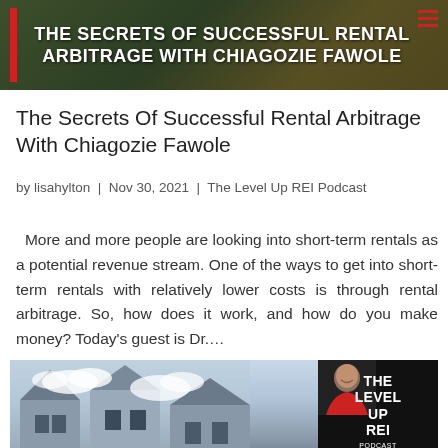[Figure (other): Dark banner image with text overlay: 'THE SECRETS OF SUCCESSFUL RENTAL ARBITRAGE WITH CHIAGOZIE FAWOLE' in bold white capital letters on a dark background with a red vertical bar on the left and a menu icon on the right.]
The Secrets Of Successful Rental Arbitrage With Chiagozie Fawole
by lisahylton  |  Nov 30, 2021  |  The Level Up REI Podcast
More and more people are looking into short-term rentals as a potential revenue stream. One of the ways to get into short-term rentals with relatively lower costs is through rental arbitrage. So, how does it work, and how do you make money? Today's guest is Dr....
[Figure (photo): Partial view of residential houses against a blue sky, with a podcast logo overlay in the bottom right showing 'THE LEVEL UP REI PODCAST' hosted by Lisa Hylton, with a woman in a red jacket.]